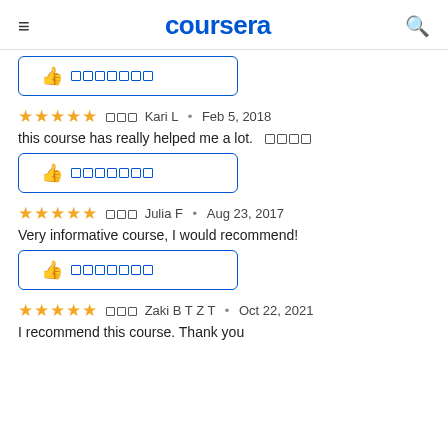coursera
[thumbs up button with redacted text]
★★★★★  ███ Kari L • Feb 5, 2018
this course has really helped me a lot.  ████
[thumbs up button with redacted text]
★★★★★  ███ Julia F • Aug 23, 2017
Very informative course, I would recommend!
[thumbs up button with redacted text]
★★★★★  ███ Zaki B T Z T • Oct 22, 2021
I recommend this course. Thank you